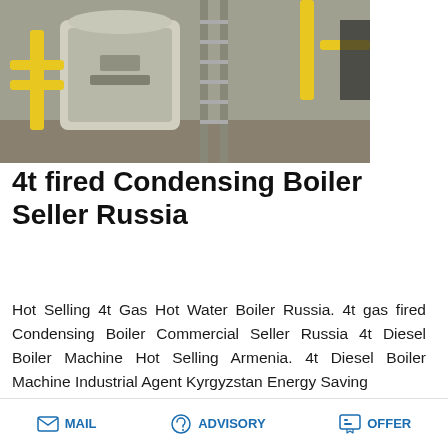[Figure (photo): Industrial boiler equipment in a factory/warehouse setting with yellow pipes and metal staircases]
4t fired Condensing Boiler Seller Russia
Hot Selling 4t Gas Hot Water Boiler Russia. 4t gas fired Condensing Boiler Commercial Seller Russia 4t Diesel Boiler Machine Hot Selling Armenia. 4t Diesel Boiler Machine Industrial Agent Kyrgyzstan Energy Saving
[Figure (screenshot): Save Stickers on WhatsApp banner with WhatsApp and emoji icons, pink/purple gradient background]
[Figure (photo): Close-up of industrial boiler or mechanical equipment]
MAIL   ADVISORY   OFFER